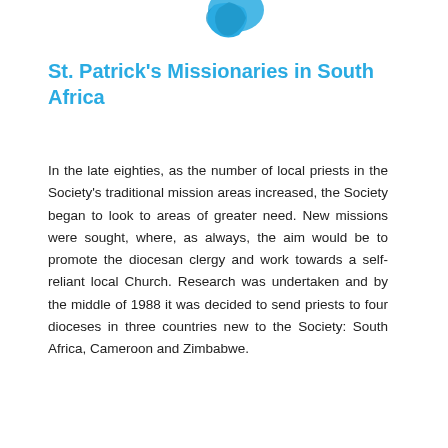[Figure (illustration): Partial map/globe illustration in blue tones, cropped at top of page]
St. Patrick's Missionaries in South Africa
In the late eighties, as the number of local priests in the Society's traditional mission areas increased, the Society began to look to areas of greater need. New missions were sought, where, as always, the aim would be to promote the diocesan clergy and work towards a self-reliant local Church. Research was undertaken and by the middle of 1988 it was decided to send priests to four dioceses in three countries new to the Society: South Africa, Cameroon and Zimbabwe.